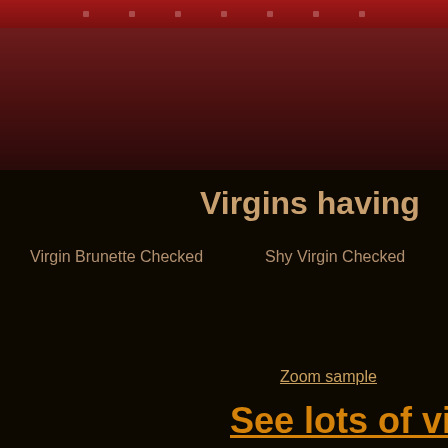[Figure (screenshot): Dark reddish-brown website header/navigation bar area with small decorative dots or menu items]
Virgins having
Virgin Brunette Checked
Shy Virgin Checked
Zoom sample
See lots of vi